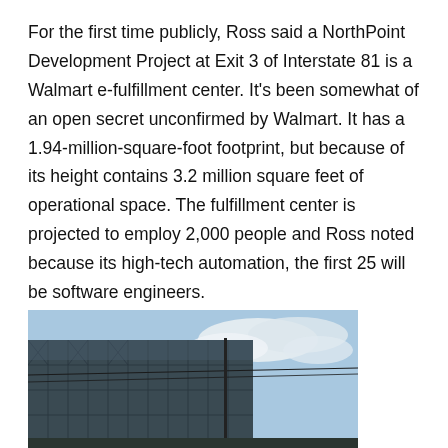For the first time publicly, Ross said a NorthPoint Development Project at Exit 3 of Interstate 81 is a Walmart e-fulfillment center. It's been somewhat of an open secret unconfirmed by Walmart. It has a 1.94-million-square-foot footprint, but because of its height contains 3.2 million square feet of operational space. The fulfillment center is projected to employ 2,000 people and Ross noted because its high-tech automation, the first 25 will be software engineers.
[Figure (photo): Exterior photo of a large industrial/warehouse building with metallic facade panels, power lines visible, and a partly cloudy sky.]